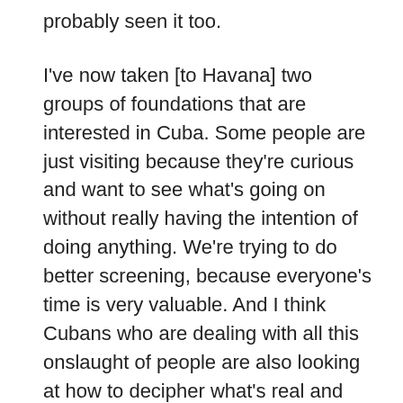probably seen it too.
I've now taken [to Havana] two groups of foundations that are interested in Cuba. Some people are just visiting because they're curious and want to see what's going on without really having the intention of doing anything. We're trying to do better screening, because everyone's time is very valuable. And I think Cubans who are dealing with all this onslaught of people are also looking at how to decipher what's real and what's not.
What I've been trying to do with the funders that we take down there is that there are already a whole series of projects and priorities that have been established. So rather than starting projects from scratch, [I've been encouraging them to] look at what's already in place, has